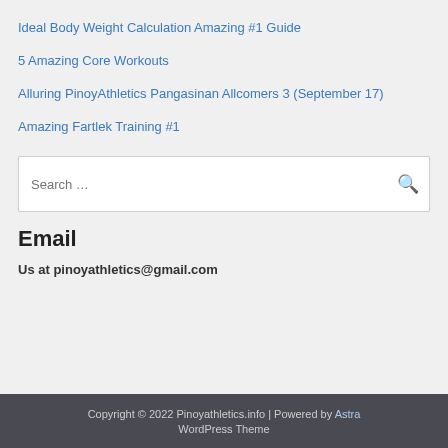Ideal Body Weight Calculation Amazing #1 Guide
5 Amazing Core Workouts
Alluring PinoyAthletics Pangasinan Allcomers 3 (September 17)
Amazing Fartlek Training #1
Search …
Email
Us at pinoyathletics@gmail.com
Copyright © 2022 Pinoyathletics.info | Powered by Astra WordPress Theme